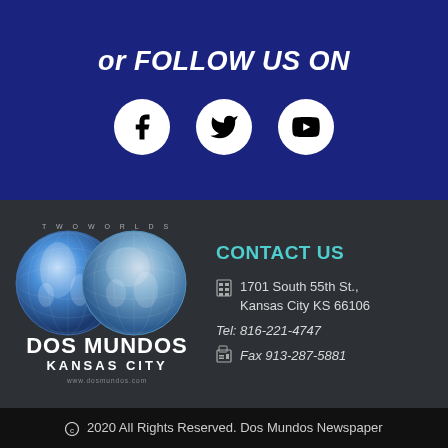or FOLLOW US ON
[Figure (logo): Three social media icons: Facebook, Twitter, YouTube in white circles on dark blue background]
[Figure (logo): Dos Mundos Kansas City newspaper logo with two globe images and text TWO WORLDS, DOS MUNDOS KANSAS CITY, www.dosmundos.com]
CONTACT US
1701 South 55th St., Kansas City KS 66106
Tel: 816-221-4747
Fax 913-287-5881
2020 All Rights Reserved. Dos Mundos Newspaper